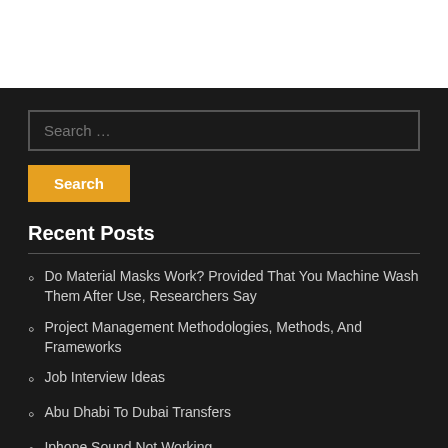[Figure (screenshot): White top area, part of a webpage screenshot]
Search …
Search
Recent Posts
Do Material Masks Work? Provided That You Machine Wash Them After Use, Researchers Say
Project Management Methodologies, Methods, And Frameworks
Job Interview Ideas
Abu Dhabi To Dubai Transfers
Iphone Sound Not Working